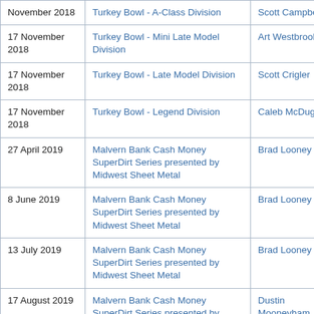| Date | Event | Winner | Points |
| --- | --- | --- | --- |
| November 2018 | Turkey Bowl - A-Class Division | Scott Campbell | 15 |
| 17 November 2018 | Turkey Bowl - Mini Late Model Division | Art Westbrook | 10 |
| 17 November 2018 | Turkey Bowl - Late Model Division | Scott Crigler | 25 |
| 17 November 2018 | Turkey Bowl - Legend Division | Caleb McDugle | 20 |
| 27 April 2019 | Malvern Bank Cash Money SuperDirt Series presented by Midwest Sheet Metal | Brad Looney | 30 |
| 8 June 2019 | Malvern Bank Cash Money SuperDirt Series presented by Midwest Sheet Metal | Brad Looney |  |
| 13 July 2019 | Malvern Bank Cash Money SuperDirt Series presented by Midwest Sheet Metal | Brad Looney |  |
| 17 August 2019 | Malvern Bank Cash Money SuperDirt Series presented by Midwest Sheet Metal | Dustin Mooneyham |  |